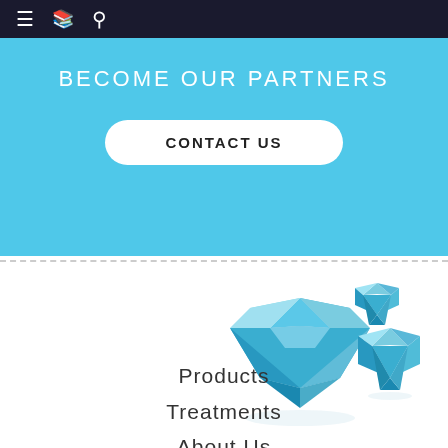≡  📋  🔍
BECOME OUR PARTNERS
CONTACT US
[Figure (illustration): Three blue diamond gemstones of varying sizes arranged decoratively]
Products
Treatments
About Us
News & Blog